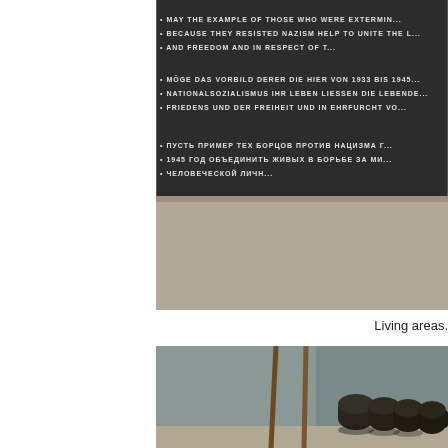[Figure (photo): Memorial wall with inscriptions in English, German, and Russian commemorating those exterminated for resisting Nazism, with gravel ground below the wall]
Living areas.
[Figure (photo): Interior of living quarters showing dark ceramic toilet fixtures lined up against a grey wall, with wooden implements leaning against the wall]